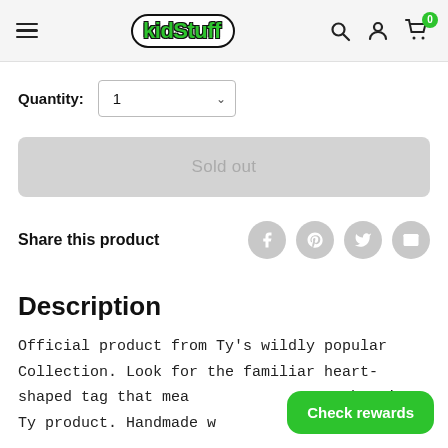kidStuff — navigation header with hamburger menu, logo, search, user, and cart icons
Quantity: 1
Sold out
Share this product
Description
Official product from Ty's wildly popular Collection. Look for the familiar heart-shaped tag that means you have an authentic Ty product. Handmade w
Check rewards